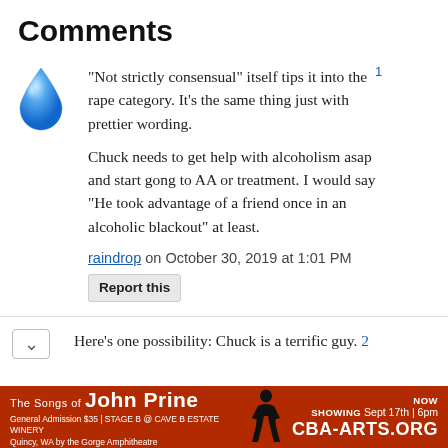Comments
"Not strictly consensual" itself tips it into the rape category. It's the same thing just with prettier wording.

Chuck needs to get help with alcoholism asap and start gong to AA or treatment. I would say "He took advantage of a friend once in an alcoholic blackout" at least.
raindrop on October 30, 2019 at 1:01 PM
Report this
Here's one possibility: Chuck is a terrific guy. 2
[Figure (illustration): Advertisement banner for John Prine concert. Red background. Text: The Songs of John Prine | NOW SHOWING Sept 17th | 6pm. General Admission $35 | STAGE B @ CAVE B ESTATE WINERY. Quincy, WA by the Gorge Amphitheatre. CBA-ARTS.ORG]